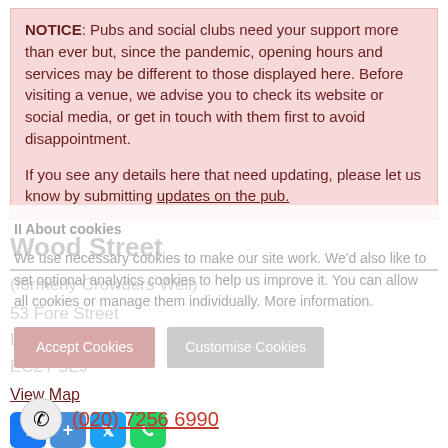NOTICE: Pubs and social clubs need your support more than ever but, since the pandemic, opening hours and services may be different to those displayed here. Before visiting a venue, we advise you to check its website or social media, or get in touch with them first to avoid disappointment.

If you see any details here that need updating, please let us know by submitting updates on the pub.
Wood Street
(formerly Crowders Well)
53 Fore Street
Barbican
EC2Y 5EJ
View Map
[Figure (other): Social sharing icons: Facebook, Share, Twitter, WhatsApp]
(020) 7256 6990